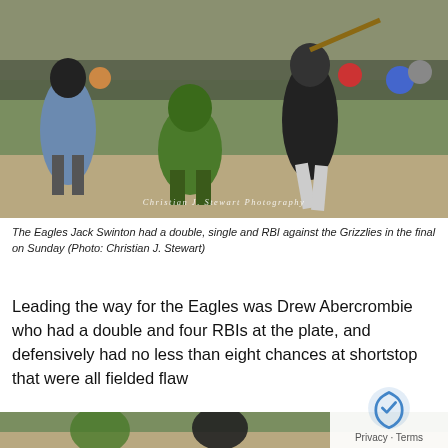[Figure (photo): Baseball game scene: a batter in black uniform swinging, catcher in green gear crouching, umpire in blue shirt standing behind, spectators in background. Watermark reads 'Christian J. Stewart Photography'.]
The Eagles Jack Swinton had a double, single and RBI against the Grizzlies in the final on Sunday (Photo: Christian J. Stewart)
Leading the way for the Eagles was Drew Abercrombie who had a double and four RBIs at the plate, and defensively had no less than eight chances at shortstop that were all fielded flawlessly
[Figure (photo): Partial view of another baseball game photo at the bottom of the page.]